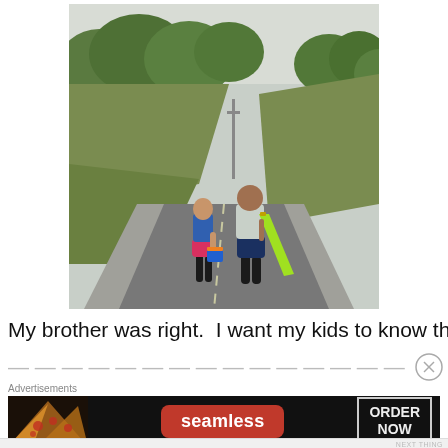[Figure (photo): Two children walking away from the camera down a curving suburban road flanked by green trees and hillside. The smaller child on the left carries a blue bucket and wears a blue tank top and pink shorts. The taller child on the right carries a bright yellow-green boogie board and wears a light blue shirt and dark shorts.]
My brother was right.  I want my kids to know that their
— (partially visible second line, obscured by ad overlay)
Advertisements
[Figure (infographic): Seamless food delivery advertisement banner. Left: photo of pizza slices. Center: Seamless logo in white text on red rounded rectangle. Right: 'ORDER NOW' text in white on dark background with white border.]